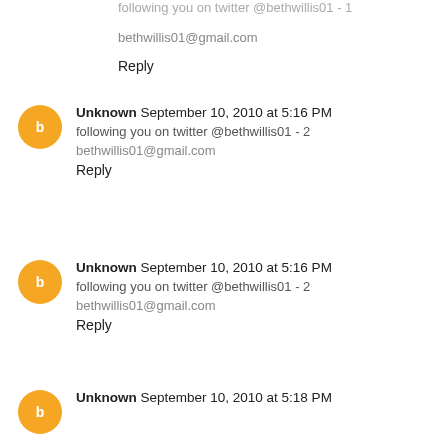following you on twitter @bethwillis01 - 1
bethwillis01@gmail.com
Reply
Unknown September 10, 2010 at 5:16 PM
following you on twitter @bethwillis01 - 2
bethwillis01@gmail.com
Reply
Unknown September 10, 2010 at 5:16 PM
following you on twitter @bethwillis01 - 2
bethwillis01@gmail.com
Reply
Unknown September 10, 2010 at 5:18 PM